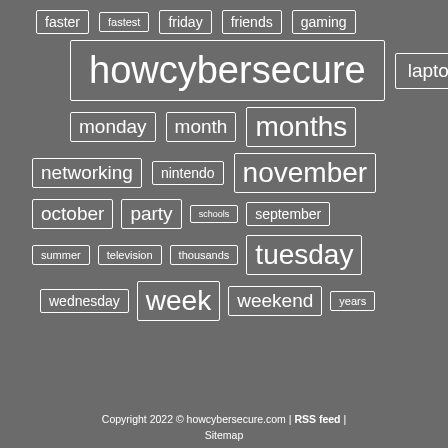[Figure (infographic): Tag cloud with keywords of varying sizes in white bordered boxes on a grey background. Tags include: faster, fastest, friday, friends, gaming, howcybersecure, laptop, monday, month, months, networking, nintendo, november, october, party, schools, september, summer, television, thousands, tuesday, wednesday, week, weekend, years]
Copyright 2022 © howcybersecure.com | RSS feed | Sitemap